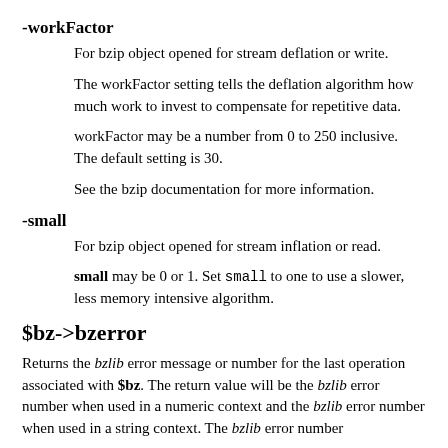-workFactor
For bzip object opened for stream deflation or write.
The workFactor setting tells the deflation algorithm how much work to invest to compensate for repetitive data.
workFactor may be a number from 0 to 250 inclusive. The default setting is 30.
See the bzip documentation for more information.
-small
For bzip object opened for stream inflation or read.
small may be 0 or 1. Set small to one to use a slower, less memory intensive algorithm.
$bz->bzerror
Returns the bzlib error message or number for the last operation associated with $bz. The return value will be the bzlib error number when used in a numeric context and the bzlib error message when used in a string context. The bzlib error number